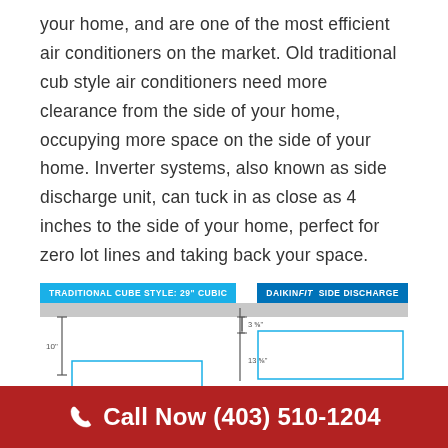your home, and are one of the most efficient air conditioners on the market. Old traditional cub style air conditioners need more clearance from the side of your home, occupying more space on the side of your home. Inverter systems, also known as side discharge unit, can tuck in as close as 4 inches to the side of your home, perfect for zero lot lines and taking back your space.
[Figure (schematic): Comparison diagram showing Traditional Cube Style: 29" Cubic vs Daikin FIT Side Discharge unit dimensions, with measurement arrows indicating 10" clearance for traditional and 3 5/8" and 13 5/8" dimensions for Daikin FIT.]
Call Now (403) 510-1204